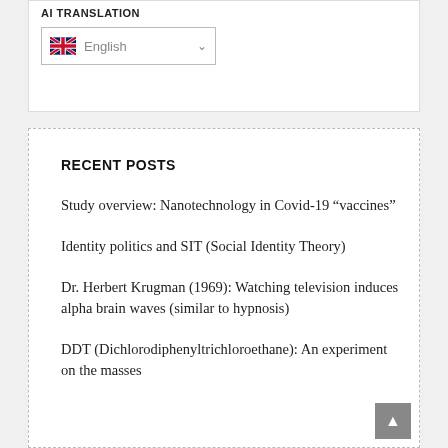AI TRANSLATION
[Figure (screenshot): Language selector dropdown showing UK flag and 'English' with a chevron/dropdown arrow]
RECENT POSTS
Study overview: Nanotechnology in Covid-19 “vaccines”
Identity politics and SIT (Social Identity Theory)
Dr. Herbert Krugman (1969): Watching television induces alpha brain waves (similar to hypnosis)
DDT (Dichlorodiphenyltrichloroethane): An experiment on the masses